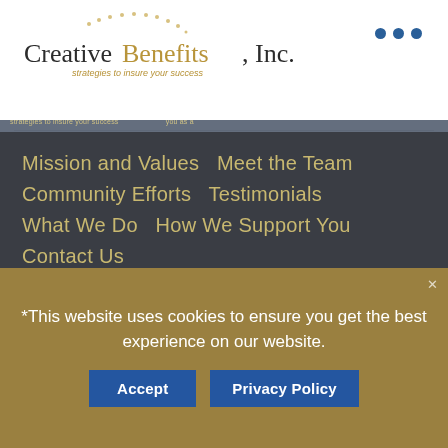[Figure (logo): Creative Benefits, Inc. logo with dotted arc decoration and tagline 'strategies to insure your success']
[Figure (other): Three dark blue navigation dots (hamburger menu indicator)]
strategies to insure your success
Mission and Values   Meet the Team   Community Efforts   Testimonials
What We Do   How We Support You   Contact Us
Blog
[Figure (logo): Mployer Advisor badge logo]
[Figure (logo): GR dark badge logo]
[Figure (logo): TOP hexagon badge in gold/yellow]
*This website uses cookies to ensure you get the best experience on our website.
Accept
Privacy Policy